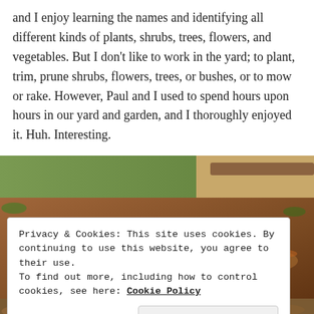and I enjoy learning the names and identifying all different kinds of plants, shrubs, trees, flowers, and vegetables. But I don't like to work in the yard; to plant, trim, prune shrubs, flowers, trees, or bushes, or to mow or rake. However, Paul and I used to spend hours upon hours in our yard and garden, and I thoroughly enjoyed it. Huh. Interesting.
[Figure (photo): Raised garden bed with leafy green and red/purple lettuce plants growing in soil surrounded by mulch and dry leaves, with grass visible in the background]
Privacy & Cookies: This site uses cookies. By continuing to use this website, you agree to their use.
To find out more, including how to control cookies, see here: Cookie Policy
Close and accept
[Figure (photo): Partial view of another garden bed with soil and green plants at the bottom of the page]